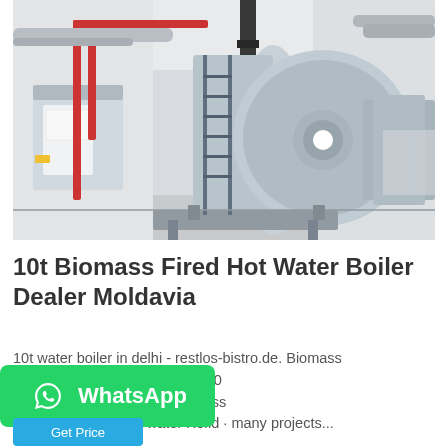[Figure (photo): Industrial boiler room with large cylindrical horizontal hot water boilers in light blue/grey color, metal pipes including red pipes, metal staircase/ladder structures, in a white industrial building]
10t Biomass Fired Hot Water Boiler Dealer Moldavia
10t water boiler in delhi - restlos-bistro.de. Biomass ealer In India. Biomass Boiler 10 n Tanzania. steam boiler success project industrail hot water Kefid · many projects...